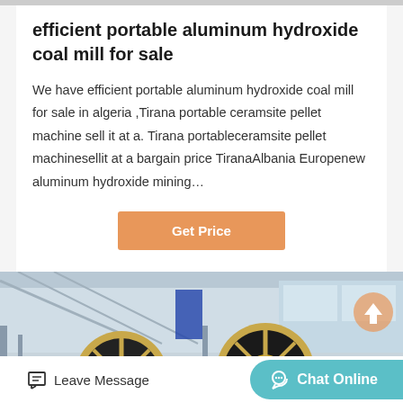efficient portable aluminum hydroxide coal mill for sale
We have efficient portable aluminum hydroxide coal mill for sale in algeria ,Tirana portable ceramsite pellet machine sell it at a. Tirana portableceramsite pellet machinesellit at a bargain price TiranaAlbania Europenew aluminum hydroxide mining…
[Figure (photo): Industrial mining/milling machines with large flywheels in a factory/warehouse setting. Multiple heavy machines visible with yellow and black components.]
Leave Message
Chat Online